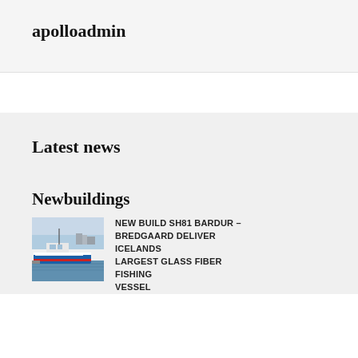apolloadmin
Latest news
Newbuildings
[Figure (photo): Blue and white fishing vessel docked at harbor with buildings in background]
NEW BUILD SH81 BARDUR – BREDGAARD DELIVER ICELANDS LARGEST GLASS FIBER FISHING VESSEL